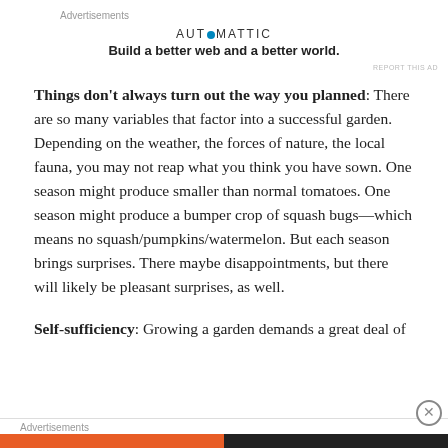Advertisements
[Figure (logo): Automattic logo with blue dot: AUT⊙MATTIC — Build a better web and a better world.]
REPORT THIS AD
Things don't always turn out the way you planned: There are so many variables that factor into a successful garden. Depending on the weather, the forces of nature, the local fauna, you may not reap what you think you have sown. One season might produce smaller than normal tomatoes. One season might produce a bumper crop of squash bugs—which means no squash/pumpkins/watermelon. But each season brings surprises. There maybe disappointments, but there will likely be pleasant surprises, as well.
Self-sufficiency: Growing a garden demands a great deal of
Advertisements